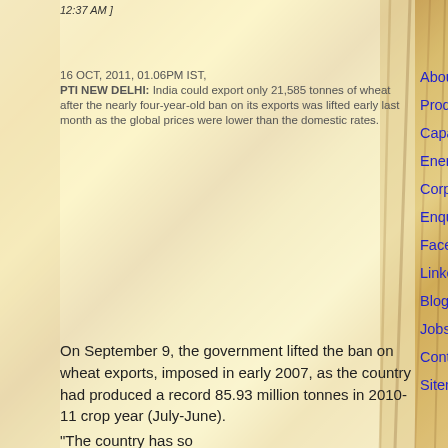12:37 AM ]
16 OCT, 2011, 01.06PM IST, PTI NEW DELHI: India could export only 21,585 tonnes of wheat after the nearly four-year-old ban on its exports was lifted early last month as the global prices were lower than the domestic rates.
On September 9, the government lifted the ban on wheat exports, imposed in early 2007, as the country had produced a record 85.93 million tonnes in 2010-11 crop year (July-June).
"The country has so
About us
Products
Capabilities
Energy division
Corporate Social Responsibility
Enquiry/Feedback
Facebook
Linkedin
Blog
Jobs
Contact us
Sitemap